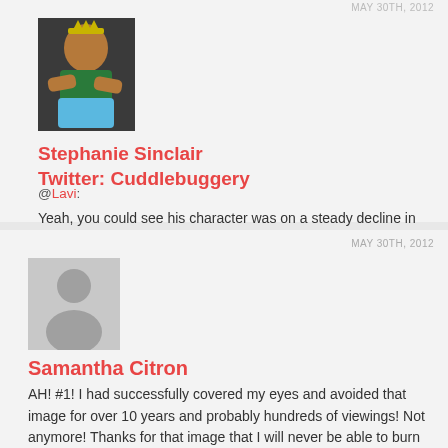MAY 30TH, 2012
[Figure (photo): Avatar image of Stephanie Sinclair showing a cartoon/illustrated character in green and blue clothing with arms crossed]
Stephanie Sinclair
Twitter: Cuddlebuggery
@Lavi:
Yeah, you could see his character was on a steady decline in HBP. I just didn't think Rowlight would take that route. And I generally scare easily, so don't mind me!
REPLY
MAY 30TH, 2012
[Figure (illustration): Generic grey user avatar placeholder icon showing a silhouette of a person]
Samantha Citron
AH! #1! I had successfully covered my eyes and avoided that image for over 10 years and probably hundreds of viewings! Not anymore! Thanks for that image that I will never be able to burn from my mind! Lolol